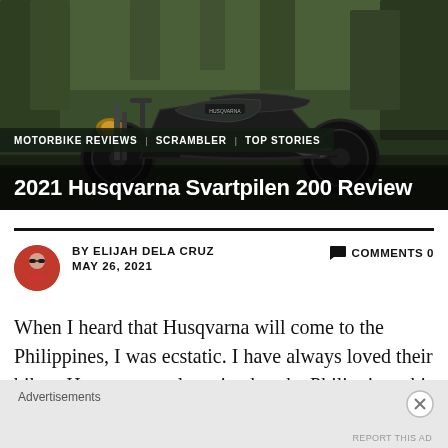[Figure (photo): Hero image of a 2021 Husqvarna Svartpilen 200 motorcycle parked on a road surrounded by trees, shot from side angle. Dark/moody outdoor setting.]
MOTORBIKE REVIEWS | SCRAMBLER | TOP STORIES
2021 Husqvarna Svartpilen 200 Review
BY ELIJAH DELA CRUZ   COMMENTS 0
MAY 26, 2021
When I heard that Husqvarna will come to the Philippines, I was ecstatic. I have always loved their bikes. Husqvarna only arrived to the Philippines this
Advertisements